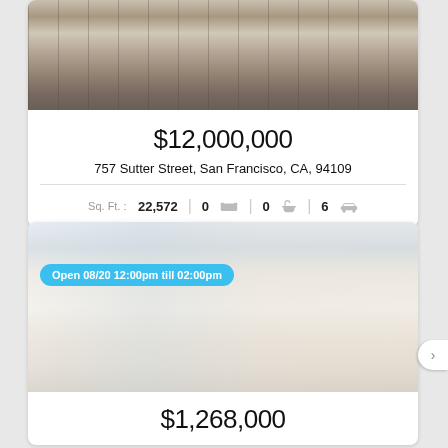[Figure (photo): Exterior photograph of a multi-story historic building at 757 Sutter Street, San Francisco]
$12,000,000
757 Sutter Street, San Francisco, CA, 94109
Sq. Ft. : 22,572  |  0 bed  |  0 bath  |  6 car
[Figure (photo): Interior photo of a modern living room with large windows, blue and grey sofas, abstract wall art, and city views. Open house badge: Open 08/20 12:00pm till 02:00pm]
$1,268,000